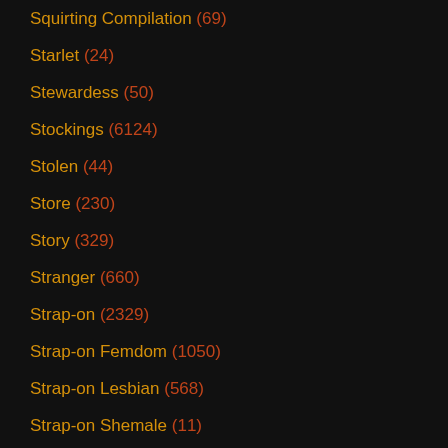Squirting Compilation (69)
Starlet (24)
Stewardess (50)
Stockings (6124)
Stolen (44)
Store (230)
Story (329)
Stranger (660)
Strap-on (2329)
Strap-on Femdom (1050)
Strap-on Lesbian (568)
Strap-on Shemale (11)
Street (702)
Stripper (2381)
Stripping (3750)
Stroking (824)